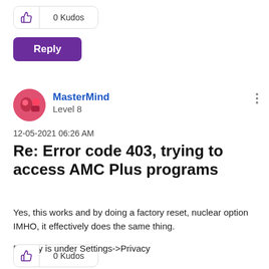[Figure (other): Kudos thumbs-up button box showing 0 Kudos]
Reply
[Figure (other): User avatar circle with pink/red image for MasterMind]
MasterMind
Level 8
12-05-2021 06:26 AM
Re: Error code 403, trying to access AMC Plus programs
Yes, this works and by doing a factory reset, nuclear option IMHO, it effectively does the same thing.

Privacy is under Settings->Privacy
[Figure (other): Kudos thumbs-up button box showing 0 Kudos]